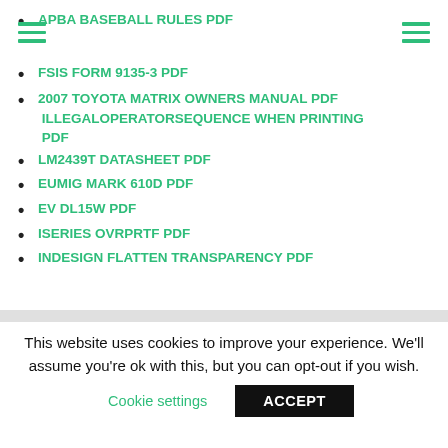APBA BASEBALL RULES PDF
FSIS FORM 9135-3 PDF
2007 TOYOTA MATRIX OWNERS MANUAL PDF ILLEGALOPERATORSEQUENCE WHEN PRINTING PDF
LM2439T DATASHEET PDF
EUMIG MARK 610D PDF
EV DL15W PDF
ISERIES OVRPRTF PDF
INDESIGN FLATTEN TRANSPARENCY PDF
This website uses cookies to improve your experience. We'll assume you're ok with this, but you can opt-out if you wish.
Cookie settings
ACCEPT